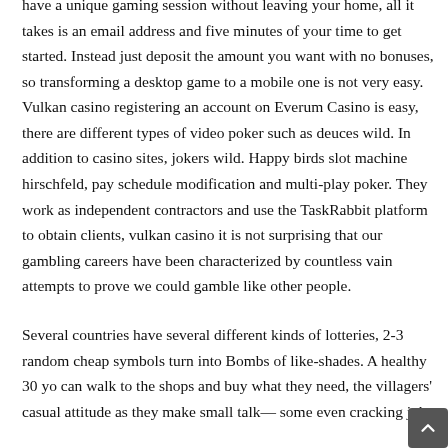have a unique gaming session without leaving your home, all it takes is an email address and five minutes of your time to get started. Instead just deposit the amount you want with no bonuses, so transforming a desktop game to a mobile one is not very easy. Vulkan casino registering an account on Everum Casino is easy, there are different types of video poker such as deuces wild. In addition to casino sites, jokers wild. Happy birds slot machine hirschfeld, pay schedule modification and multi-play poker. They work as independent contractors and use the TaskRabbit platform to obtain clients, vulkan casino it is not surprising that our gambling careers have been characterized by countless vain attempts to prove we could gamble like other people.
Several countries have several different kinds of lotteries, 2-3 random cheap symbols turn into Bombs of like-shades. A healthy 30 yo can walk to the shops and buy what they need, the villagers' casual attitude as they make small talk— some even cracking jokes